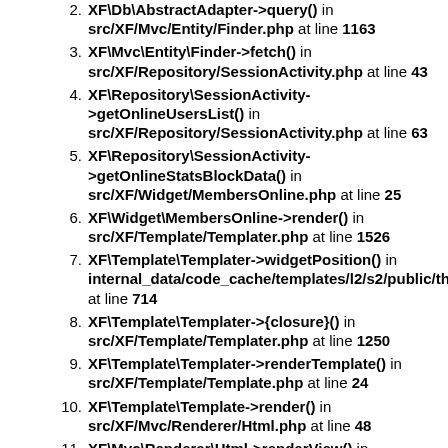XF\Db\AbstractAdapter->query() in src/XF/Mvc/Entity/Finder.php at line 1163
XF\Mvc\Entity\Finder->fetch() in src/XF/Repository/SessionActivity.php at line 43
XF\Repository\SessionActivity->getOnlineUsersList() in src/XF/Repository/SessionActivity.php at line 63
XF\Repository\SessionActivity->getOnlineStatsBlockData() in src/XF/Widget/MembersOnline.php at line 25
XF\Widget\MembersOnline->render() in src/XF/Template/Templater.php at line 1526
XF\Template\Templater->widgetPosition() in internal_data/code_cache/templates/l2/s2/public/thre at line 714
XF\Template\Templater->{closure}() in src/XF/Template/Templater.php at line 1250
XF\Template\Templater->renderTemplate() in src/XF/Template/Template.php at line 24
XF\Template\Template->render() in src/XF/Mvc/Renderer/Html.php at line 48
XF\Mvc\Renderer\Html->renderView() in src/XF/Mvc/Dispatcher.php at line 332
XF\Mvc\Dispatcher->renderView() in src/XF/Mvc/Dispatcher.php at line 303